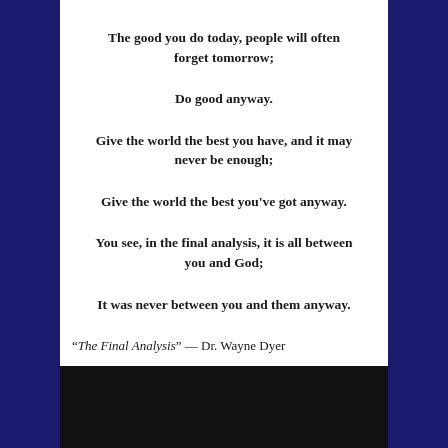The good you do today, people will often forget tomorrow;
Do good anyway.
Give the world the best you have, and it may never be enough;
Give the world the best you've got anyway.
You see, in the final analysis, it is all between you and God;
It was never between you and them anyway.
“The Final Analysis” — Dr. Wayne Dyer
[Figure (photo): Dark/black rectangular image at the bottom of the page]